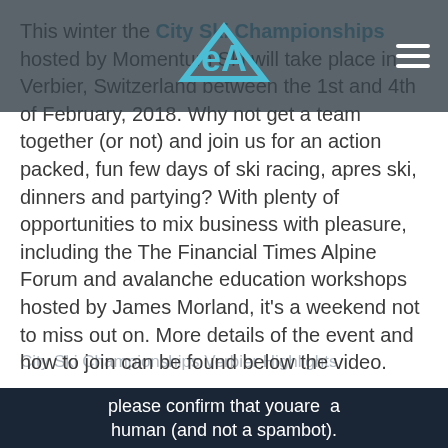This winter the City Ski Championships hosted by Momentum Ski will take place in Verbier, Switzerland between the 1st and 4th of February, 2018. Why not get a team together (or not) and join us for an action packed, fun few days of ski racing, apres ski, dinners and partying? With plenty of opportunities to mix business with pleasure, including the The Financial Times Alpine Forum and avalanche education workshops hosted by James Morland, it's a weekend not to miss out on. More details of the event and how to join can be found below the video.
City Ski Championships Verbier Highlights
[Figure (screenshot): Video embed with dark navy background showing anti-spam captcha text: 'please confirm that youare a human (and not a spambot).']